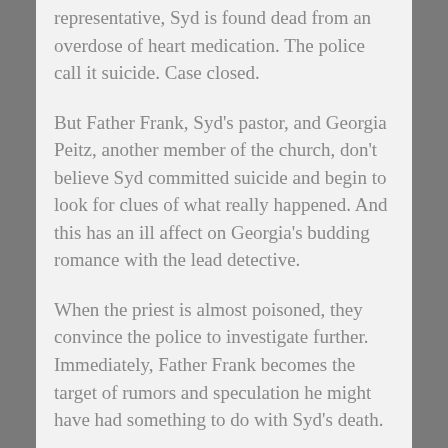representative, Syd is found dead from an overdose of heart medication. The police call it suicide. Case closed.
But Father Frank, Syd's pastor, and Georgia Peitz, another member of the church, don't believe Syd committed suicide and begin to look for clues of what really happened. And this has an ill affect on Georgia's budding romance with the lead detective.
When the priest is almost poisoned, they convince the police to investigate further. Immediately, Father Frank becomes the target of rumors and speculation he might have had something to do with Syd's death.
The more clues Father Frank and Georgia uncover, the more danger they find themselves in. Can they find the real killer before they become victims?